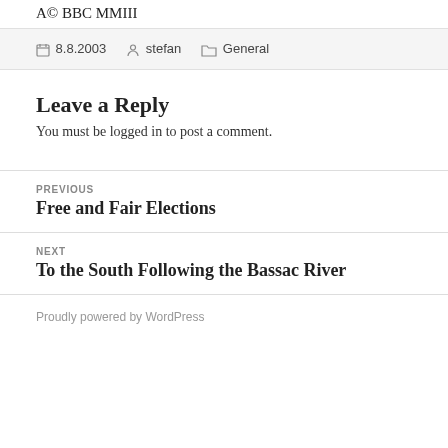A© BBC MMIII
8.8.2003   stefan   General
Leave a Reply
You must be logged in to post a comment.
PREVIOUS
Free and Fair Elections
NEXT
To the South Following the Bassac River
Proudly powered by WordPress